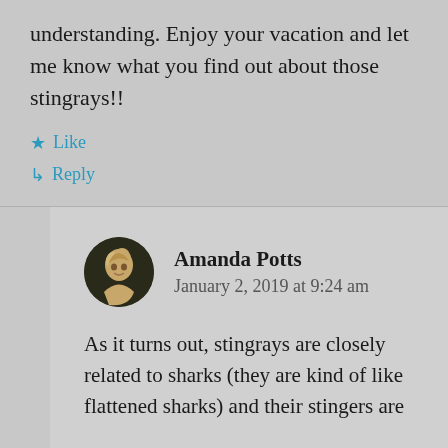understanding. Enjoy your vacation and let me know what you find out about those stingrays!!
★ Like
↳ Reply
Amanda Potts
January 2, 2019 at 9:24 am
As it turns out, stingrays are closely related to sharks (they are kind of like flattened sharks) and their stingers are